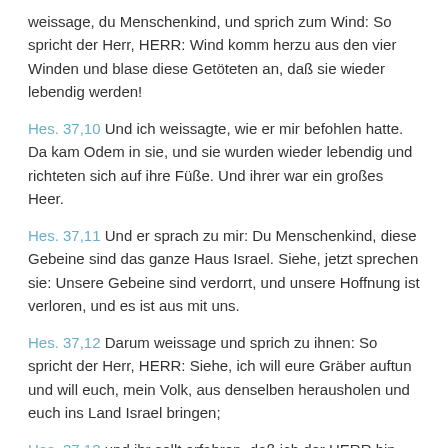weissage, du Menschenkind, und sprich zum Wind: So spricht der Herr, HERR: Wind komm herzu aus den vier Winden und blase diese Getöteten an, daß sie wieder lebendig werden!
Hes. 37,10 Und ich weissagte, wie er mir befohlen hatte. Da kam Odem in sie, und sie wurden wieder lebendig und richteten sich auf ihre Füße. Und ihrer war ein großes Heer.
Hes. 37,11 Und er sprach zu mir: Du Menschenkind, diese Gebeine sind das ganze Haus Israel. Siehe, jetzt sprechen sie: Unsere Gebeine sind verdorrt, und unsere Hoffnung ist verloren, und es ist aus mit uns.
Hes. 37,12 Darum weissage und sprich zu ihnen: So spricht der Herr, HERR: Siehe, ich will eure Gräber auftun und will euch, mein Volk, aus denselben herausholen und euch ins Land Israel bringen;
Hes. 37,13 und ihr sollt erfahren, daß ich der HERR bin,